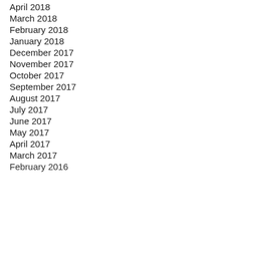April 2018
March 2018
February 2018
January 2018
December 2017
November 2017
October 2017
September 2017
August 2017
July 2017
June 2017
May 2017
April 2017
March 2017
February 2016